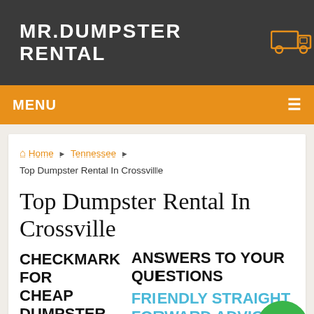MR.DUMPSTER RENTAL
MENU
Home ▶ Tennessee ▶ Top Dumpster Rental In Crossville
Top Dumpster Rental In Crossville
CHECKMARK FOR CHEAP DUMPSTER RENTAL — ANSWERS TO YOUR QUESTIONS — FRIENDLY STRAIGHT FORWARD ADVICE — We realize you may have a few
[Figure (illustration): Broken image placeholder icon (checkmark image failed to load)]
[Figure (illustration): Green circular phone/call button at bottom right corner]